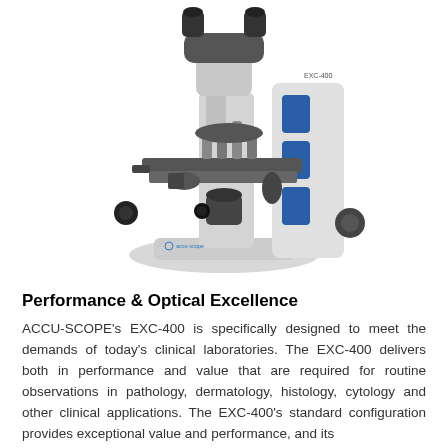[Figure (photo): Photo of ACCU-SCOPE EXC-400 binocular laboratory microscope, light gray body with blue accent panels on the right side, black stage and focus knobs, multiple objective lenses visible]
Performance & Optical Excellence
ACCU-SCOPE's EXC-400 is specifically designed to meet the demands of today's clinical laboratories. The EXC-400 delivers both in performance and value that are required for routine observations in pathology, dermatology, histology, cytology and other clinical applications. The EXC-400's standard configuration provides exceptional value and performance, and its